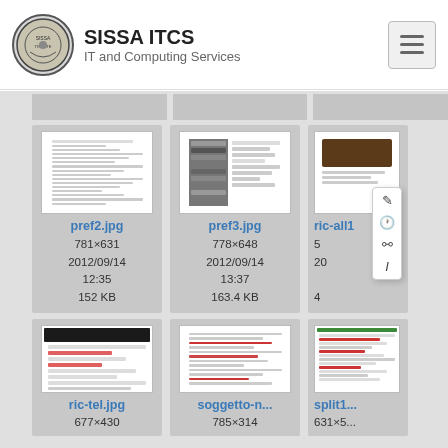SISSA ITCS - IT and Computing Services
[Figure (screenshot): pref2.jpg thumbnail - document screenshot]
pref2.jpg
781×631
2012/09/14 12:35
152 KB
[Figure (screenshot): pref3.jpg thumbnail - preferences dialog screenshot]
pref3.jpg
778×648
2012/09/14 13:37
163.4 KB
[Figure (screenshot): ric-all1 thumbnail - partially visible with context menu]
ric-all1...
5...
20...
4...
[Figure (screenshot): ric-tel.jpg thumbnail - dark header form screenshot]
ric-tel.jpg
677×430
[Figure (screenshot): soggetto-n... thumbnail - form with red highlights]
soggetto-n...
785×314
[Figure (screenshot): split1... thumbnail - partially visible]
split1...
631×5...